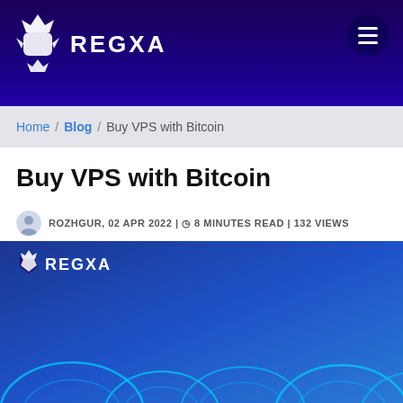REGXA
Home / Blog / Buy VPS with Bitcoin
Buy VPS with Bitcoin
ROZHGUR, 02 APR 2022 | 8 MINUTES READ | 132 VIEWS
[Figure (illustration): Hero banner image with REGXA logo on a blue gradient background showing stylized server/cloud shapes at the bottom]